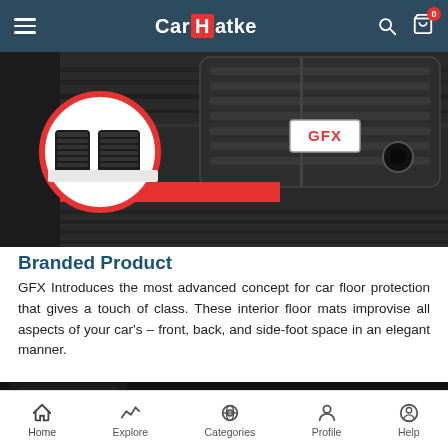CarHatke — navigation bar with hamburger menu, logo, search and cart icons
[Figure (photo): Close-up photo of a dark rubber car floor mat with deep ridges and GFX brand badge. A circular inset on the left shows two smaller car mats (front pair) on a white background, framed with a red border circle.]
Branded Product
GFX Introduces the most advanced concept for car floor protection that gives a touch of class. These interior floor mats improvise all aspects of your car's – front, back, and side-foot space in an elegant manner.
[Figure (photo): Banner image with dark background showing a car mat. Text reads: LIFELONG MATS. Subtitle partially visible: Fits perfectly from]
Home | Explore | Categories | Profile | Help — bottom navigation bar